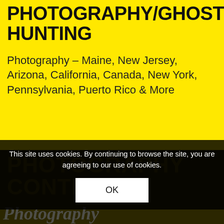PHOTOGRAPHY/GHOST HUNTING
Photography – Maine, New Jersey, Arizona, California, Canada, New York, Pennsylvania, Puerto Rico & More
PHOTOGRAPHY CONTESTS
Photography (script/cursive watermark)
This site uses cookies. By continuing to browse the site, you are agreeing to our use of cookies.